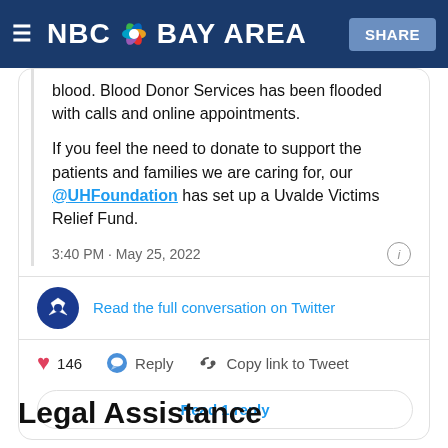NBC Bay Area — SHARE
blood. Blood Donor Services has been flooded with calls and online appointments.

If you feel the need to donate to support the patients and families we are caring for, our @UHFoundation has set up a Uvalde Victims Relief Fund.

3:40 PM · May 25, 2022
Read the full conversation on Twitter
146  Reply  Copy link to Tweet
Read 1 reply
Legal Assistance